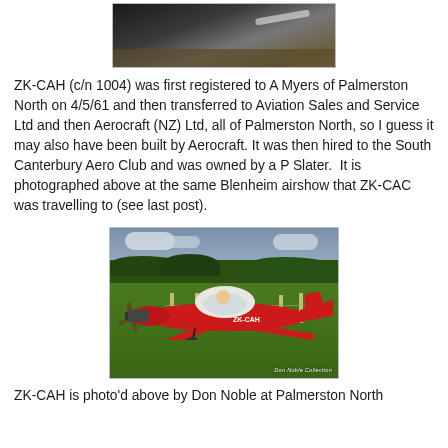[Figure (photo): Black and white partial photo of an aircraft at the top of the page, cropped showing bottom portion only]
ZK-CAH (c/n 1004) was first registered to A Myers of Palmerston North on 4/5/61 and then transferred to Aviation Sales and Service Ltd and then Aerocraft (NZ) Ltd, all of Palmerston North, so I guess it may also have been built by Aerocraft. It was then hired to the South Canterbury Aero Club and was owned by a P Slater.  It is photographed above at the same Blenheim airshow that ZK-CAC was travelling to (see last post).
[Figure (photo): Color photo of a red and white small aircraft (ZK-CAH) on grass with a person in the cockpit, trees and cloudy sky in background. Caption reads 'Don Noble Collection']
ZK-CAH is photo'd above by Don Noble at Palmerston North